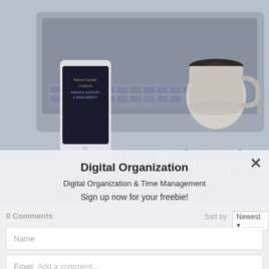[Figure (screenshot): Background photo of laptop, smartphone showing Watered Garden Creations website support branding, and a coffee cup on a desk]
Being Productive When Craziness Hits!
Digital Organization
Digital Organization & Time Management
Sign up now for your freebie!
0 Comments
Sort by Newest
Name
Email
Add a comment...
SUBSCRIBE
By continuing to browse the site you are agreeing to our use of cookies